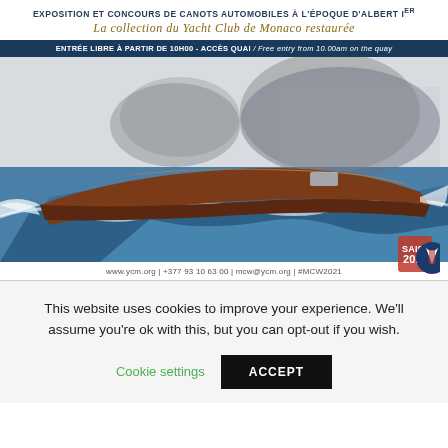EXPOSITION ET CONCOURS DE CANOTS AUTOMOBILES À L'ÉPOQUE D'ALBERT Ier
La collection du Yacht Club de Monaco restaurée
ENTRÉE LIBRE À PARTIR DE 10H00 - ACCÈS QUAI / Free entry from 10.00am on the quay
[Figure (illustration): Painting of a classic wooden motorboat speeding through choppy blue waters with rocky coastline in the background, vintage style artwork.]
www.ycm.org | +377 93 10 63 00 | mcw@ycm.org | #MCW2021
This website uses cookies to improve your experience. We'll assume you're ok with this, but you can opt-out if you wish.
Cookie settings   ACCEPT